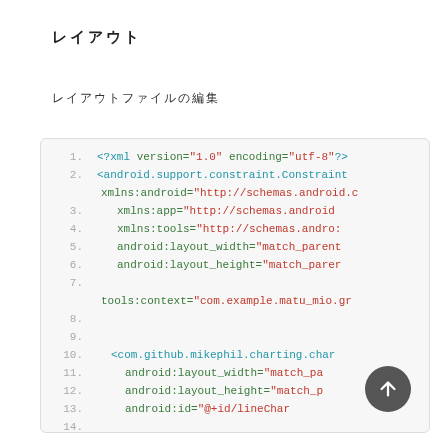レイアウト
レイアウトファイルの編集
[Figure (screenshot): Code editor showing XML layout file for Android with ConstraintLayout and com.github.mikephil.charting chart widget, lines 1-15 visible]